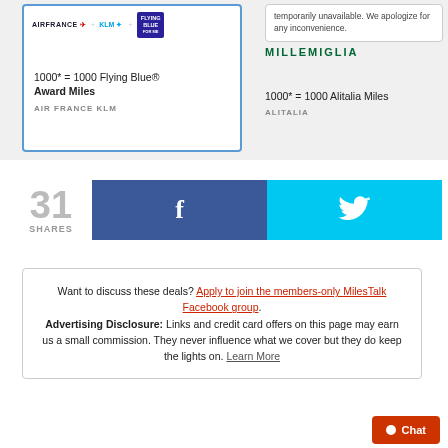[Figure (screenshot): Air France KLM Flying Blue card with logos and award text: 1000* = 1000 Flying Blue® Award Miles, AIR FRANCE KLM]
[Figure (screenshot): Alitalia Millemiglia card with error message and text: 1000* = 1000 Alitalia Miles, ALITALIA]
31 SHARES
[Figure (infographic): Facebook share button (dark blue with f icon) and Twitter share button (cyan with bird icon)]
Want to discuss these deals? Apply to join the members-only MilesTalk Facebook group. Advertising Disclosure: Links and credit card offers on this page may earn us a small commission. They never influence what we cover but they do keep the lights on. Learn More